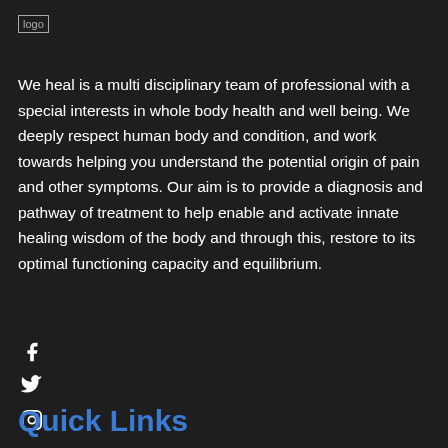[Figure (logo): Logo image placeholder in top left corner]
We heal is a multi disciplinary team of professional with a special interests in whole body health and well being. We deeply respect human body and condition, and work towards helping you understand the potential origin of pain and other symptoms. Our aim is to provide a diagnosis and pathway of treatment to help enable and activate innate healing wisdom of the body and through this, restore to its optimal functioning capacity and equilibrium.
[Figure (other): Social media icons: Facebook, Twitter, Instagram]
Quick Links